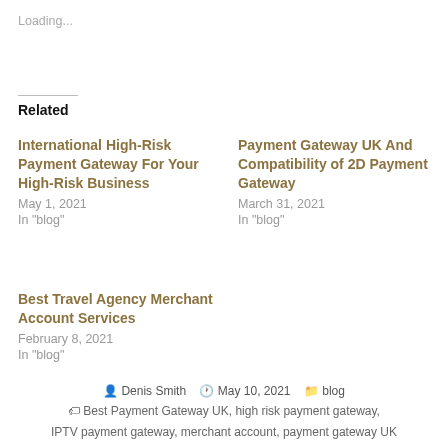Loading...
Related
International High-Risk Payment Gateway For Your High-Risk Business
May 1, 2021
In "blog"
Payment Gateway UK And Compatibility of 2D Payment Gateway
March 31, 2021
In "blog"
Best Travel Agency Merchant Account Services
February 8, 2021
In "blog"
Denis Smith  May 10, 2021  blog
Best Payment Gateway UK, high risk payment gateway,
IPTV payment gateway, merchant account, payment gateway UK